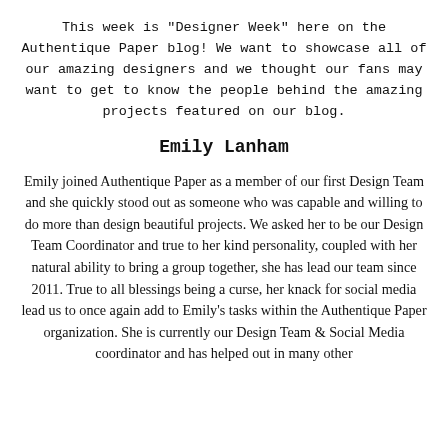This week is "Designer Week" here on the Authentique Paper blog! We want to showcase all of our amazing designers and we thought our fans may want to get to know the people behind the amazing projects featured on our blog.
Emily Lanham
Emily joined Authentique Paper as a member of our first Design Team and she quickly stood out as someone who was capable and willing to do more than design beautiful projects. We asked her to be our Design Team Coordinator and true to her kind personality, coupled with her natural ability to bring a group together, she has lead our team since 2011. True to all blessings being a curse, her knack for social media lead us to once again add to Emily's tasks within the Authentique Paper organization. She is currently our Design Team & Social Media coordinator and has helped out in many other